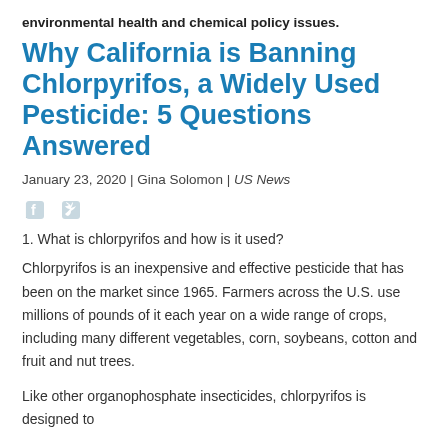environmental health and chemical policy issues.
Why California is Banning Chlorpyrifos, a Widely Used Pesticide: 5 Questions Answered
January 23, 2020 | Gina Solomon | US News
[Figure (illustration): Social media share icons: Facebook and Twitter]
1. What is chlorpyrifos and how is it used?
Chlorpyrifos is an inexpensive and effective pesticide that has been on the market since 1965. Farmers across the U.S. use millions of pounds of it each year on a wide range of crops, including many different vegetables, corn, soybeans, cotton and fruit and nut trees.
Like other organophosphate insecticides, chlorpyrifos is designed to